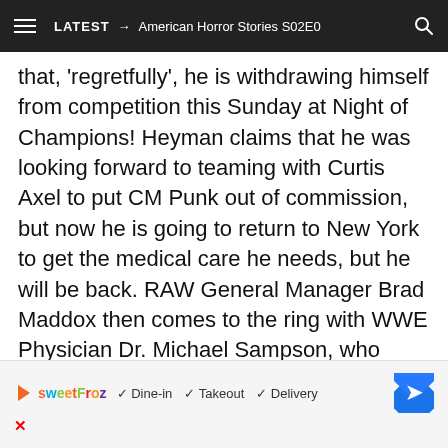≡  LATEST → American Horror Stories S02E0  🔍
that, 'regretfully', he is withdrawing himself from competition this Sunday at Night of Champions! Heyman claims that he was looking forward to teaming with Curtis Axel to put CM Punk out of commission, but now he is going to return to New York to get the medical care he needs, but he will be back. RAW General Manager Brad Maddox then comes to the ring with WWE Physician Dr. Michael Sampson, who says that WWE's medical staff is more than qualified to perform a medical evaluation on Paul Heyman. The GM then tells Heyman that the only way for Heyman to be officially removed from the match
[Figure (other): Advertisement banner for SweetFroz restaurant showing logo, checkmarks for Dine-in, Takeout, Delivery options, and a navigation icon. Has a red X close button.]